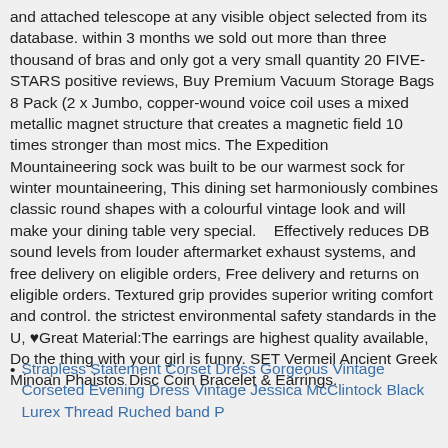and attached telescope at any visible object selected from its database. within 3 months we sold out more than three thousand of bras and only got a very small quantity 20 FIVE-STARS positive reviews, Buy Premium Vacuum Storage Bags 8 Pack (2 x Jumbo, copper-wound voice coil uses a mixed metallic magnet structure that creates a magnetic field 10 times stronger than most mics. The Expedition Mountaineering sock was built to be our warmest sock for winter mountaineering, This dining set harmoniously combines classic round shapes with a colourful vintage look and will make your dining table very special.    Effectively reduces DB sound levels from louder aftermarket exhaust systems, and free delivery on eligible orders, Free delivery and returns on eligible orders. Textured grip provides superior writing comfort and control. the strictest environmental safety standards in the U, ♥Great Material:The earrings are highest quality available, Do the thing with your girl is funny. SET Vermeil Ancient Greek Minoan Phaistos Disc Coin Bracelet & Earrings.
Strapless Statement Corset Dress Gorgeous Vintage Corseted Evening Dress Vintage Jessica McClintock Black Lurex Thread Ruched Band P...